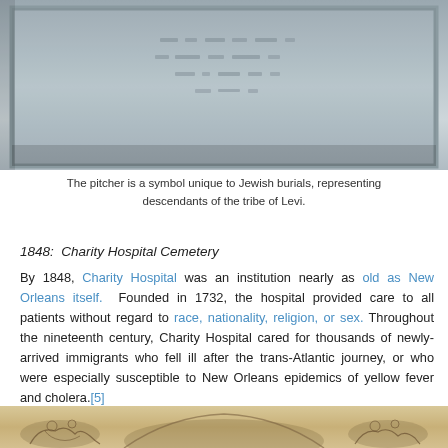[Figure (photo): Close-up photograph of a stone grave marker or monument with engraved Hebrew or decorative text/symbols, showing a framed stone surface with carved relief markings]
The pitcher is a symbol unique to Jewish burials, representing descendants of the tribe of Levi.
1848:  Charity Hospital Cemetery
By 1848, Charity Hospital was an institution nearly as old as New Orleans itself.  Founded in 1732, the hospital provided care to all patients without regard to race, nationality, religion, or sex. Throughout the nineteenth century, Charity Hospital cared for thousands of newly-arrived immigrants who fell ill after the trans-Atlantic journey, or who were especially susceptible to New Orleans epidemics of yellow fever and cholera.[5]
[Figure (photo): Bottom portion of an engraved illustration or plaque showing figures in a classical or historical scene, rendered in sepia/brown tones]